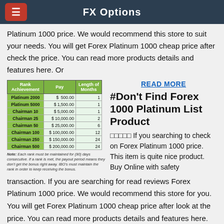FX Options
Platinum 1000 price. We would recommend this store to suit your needs. You will get Forex Platinum 1000 cheap price after check the price. You can read more products details and features here. Or
| Rank Achievement | Pay | Length of Months |
| --- | --- | --- |
| Platinum 2000 | $ 500.00 | 1 |
| Platinum 5000 | $ 1,500.00 | 1 |
| Chairman 10 | $ 5,000.00 | 1 |
| Chairman 25 | $ 10,000.00 | 2 |
| Chairman 50 | $ 25,000.00 | 6 |
| Chairman 100 | $ 100,000.00 | 12 |
| Chairman 250 | $ 150,000.00 | 24 |
| Chairman 500 | $ 200,000.00 | 24 |
Note: Each rank must be maintained for (90) days consecutive. If a rank is met, the payout period means they don't get the bonus right away. IBO's must maintain the rank in order to keep receiving the bonus.
READ MORE
#Don't Find Forex 1000 Platinum List Product
If you searching to check on Forex Platinum 1000 price. This item is quite nice product. Buy Online with safety transaction. If you are searching for read reviews Forex Platinum 1000 price. We would recommend this store for you. You will get Forex Platinum 1000 cheap price after look at the price. You can read more products details and features here. Or If you